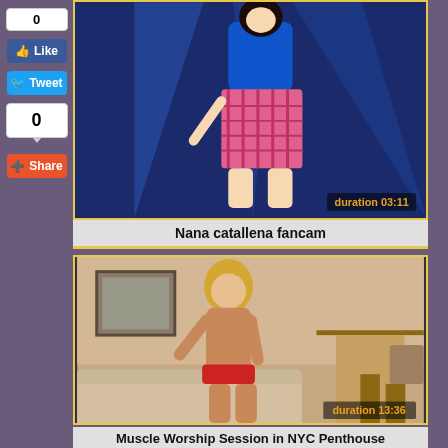[Figure (screenshot): Video thumbnail showing a performer on stage with blue lighting, pink plaid skirt, blue top, dark hair. Duration badge: 03:11]
Nana catallena fancam
[Figure (screenshot): Video thumbnail showing a blonde woman in a hotel room setting. Duration badge: 13:36]
Muscle Worship Session in NYC Penthouse